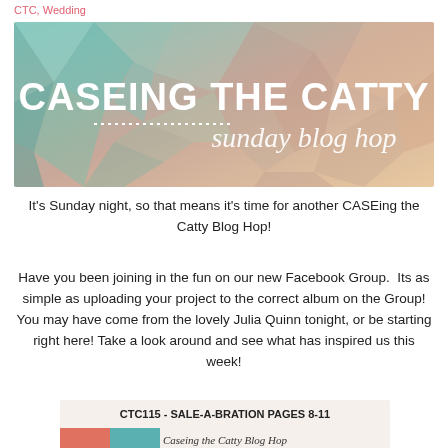CTC, Wedding
[Figure (illustration): Banner image for 'Caseing the Catty Sunday Blog Hop' with geometric polygon background in pastel teal, pink, and peach tones, with white bold text 'CASEING THE CATTY' and script text '...sunday blog hop']
It's Sunday night, so that means it's time for another CASEing the Catty Blog Hop!
Have you been joining in the fun on our new Facebook Group.  Its as simple as uploading your project to the correct album on the Group! You may have come from the lovely Julia Quinn tonight, or be starting right here! Take a look around and see what has inspired us this week!
[Figure (illustration): Bottom partial image showing 'CTC115 - SALE-A-BRATION PAGES 8-11' text and 'Caseing the Catty Blog Hop' script text on a white/light card background]